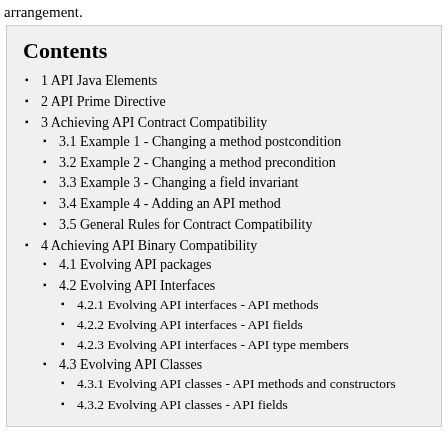arrangement.
Contents
1 API Java Elements
2 API Prime Directive
3 Achieving API Contract Compatibility
3.1 Example 1 - Changing a method postcondition
3.2 Example 2 - Changing a method precondition
3.3 Example 3 - Changing a field invariant
3.4 Example 4 - Adding an API method
3.5 General Rules for Contract Compatibility
4 Achieving API Binary Compatibility
4.1 Evolving API packages
4.2 Evolving API Interfaces
4.2.1 Evolving API interfaces - API methods
4.2.2 Evolving API interfaces - API fields
4.2.3 Evolving API interfaces - API type members
4.3 Evolving API Classes
4.3.1 Evolving API classes - API methods and constructors
4.3.2 Evolving API classes - API fields